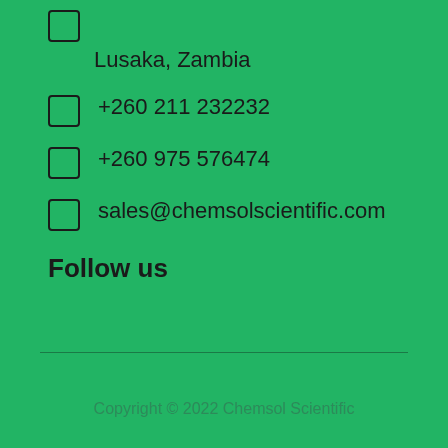Lusaka, Zambia
+260 211 232232
+260 975 576474
sales@chemsolscientific.com
Follow us
Copyright © 2022 Chemsol Scientific